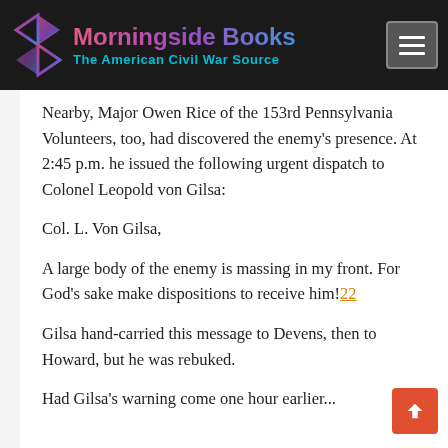Morningside Books — The American Civil War Source
Nearby, Major Owen Rice of the 153rd Pennsylvania Volunteers, too, had discovered the enemy's presence. At 2:45 p.m. he issued the following urgent dispatch to Colonel Leopold von Gilsa:
Col. L. Von Gilsa,
A large body of the enemy is massing in my front. For God's sake make dispositions to receive him!22
Gilsa hand-carried this message to Devens, then to Howard, but he was rebuked.
Had Gilsa's warning come one hour earlier...